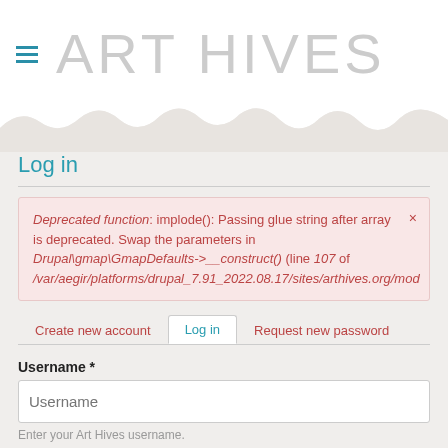ART HIVES
Log in
Deprecated function: implode(): Passing glue string after array is deprecated. Swap the parameters in Drupal\gmap\GmapDefaults->__construct() (line 107 of /var/aegir/platforms/drupal_7.91_2022.08.17/sites/arthives.org/mod
Create new account | Log in | Request new password
Username *
Username
Enter your Art Hives username.
Password *